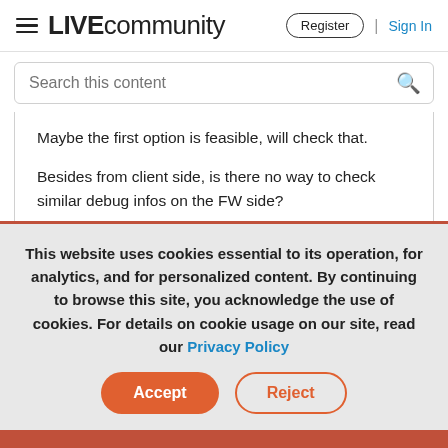≡ LIVEcommunity | Register | Sign In
Search this content
Maybe the first option is feasible, will check that.
Besides from client side, is there no way to check similar debug infos on the FW side?
This website uses cookies essential to its operation, for analytics, and for personalized content. By continuing to browse this site, you acknowledge the use of cookies. For details on cookie usage on our site, read our Privacy Policy